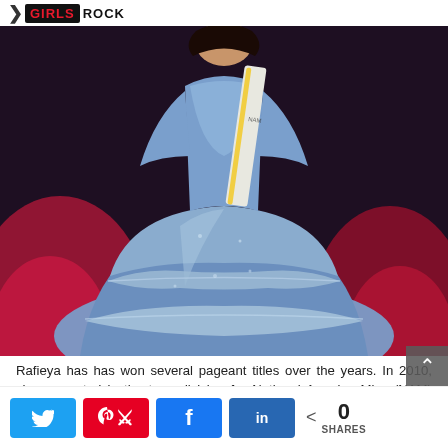GIRLS ROCK
[Figure (photo): Person in a blue tiered satin ballgown with a pageant sash on a stage with red/pink uplighting in the background]
Rafieya has has won several pageant titles over the years. In 2010, she competed in the teen division for National America Miss (NAM) and placed 4 runner up in the entire pageant. She walked away with winner of the Top Model Search, the Casual Wear division, Most Promising Model and Best Academic Achievement and received a modeling
0 SHARES